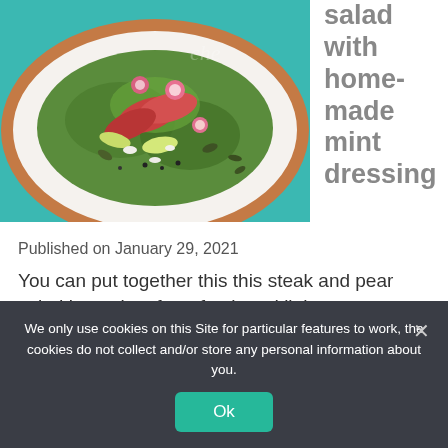[Figure (photo): A plate of steak and pear salad with greens, radishes, seeds and feta cheese on a white plate with a brown rim, on a teal/turquoise background.]
salad with home-made mint dressing
Published on January 29, 2021
You can put together this this steak and pear salad in no time for a fresh and light summery dish. Don't forget the home-made dressing!
We only use cookies on this Site for particular features to work, the cookies do not collect and/or store any personal information about you.